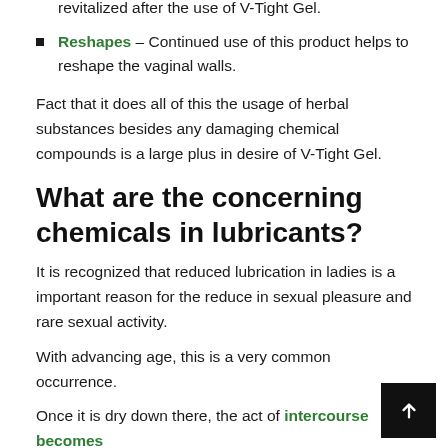Revitalizes – User will experience rejuvenated and revitalized after the use of V-Tight Gel.
Reshapes – Continued use of this product helps to reshape the vaginal walls.
Fact that it does all of this the usage of herbal substances besides any damaging chemical compounds is a large plus in desire of V-Tight Gel.
What are the concerning chemicals in lubricants?
It is recognized that reduced lubrication in ladies is a important reason for the reduce in sexual pleasure and rare sexual activity.
With advancing age, this is a very common occurrence.
Once it is dry down there, the act of intercourse becomes